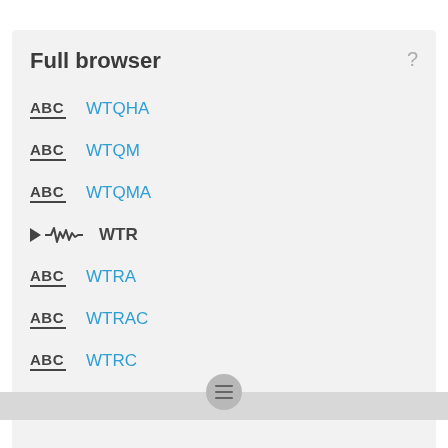Full browser
ABC WTQHA
ABC WTQM
ABC WTQMA
WTR
ABC WTRA
ABC WTRAC
ABC WTRC
ABC WTRES